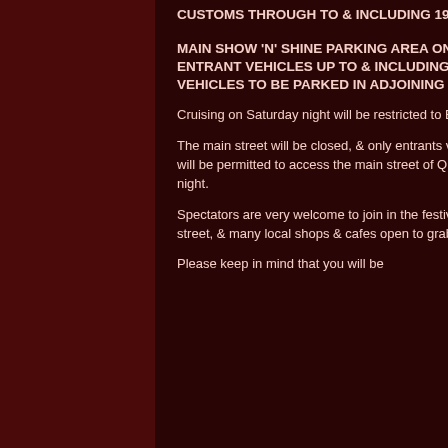CUSTOMS THROUGH TO & INCLUDING 1977 CHROME BUMPER VEHICLES.
MAIN SHOW 'N' SHINE PARKING AREA ON SUNDAY 4th FEB. 2018 IS RESTRICTED TO ENTRANT VEHICLES UP TO & INCLUDING 1965 VEHICLES ONLY. POST 1965 ENTRANT VEHICLES TO BE PARKED IN ADJOINING DISPLAY AREA.
Cruising on Saturday night will be restricted to ENTRANTS ONLY at QRR 2018.
The main street will be closed, & only entrants vehicles with their entrant sticker on the windscreen will be permitted to access the main street of Queenscliff to participate in the cruising Saturday night.
Spectators are very welcome to join in the festivities of the night, with a live band playing in the street, & many local shops & cafes open to grab something to eat.
Please keep in mind that you will be